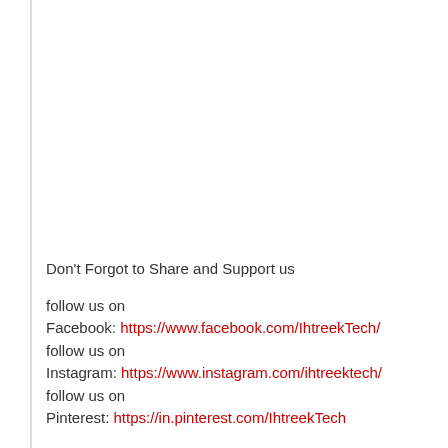Don't Forgot to Share and Support us
follow us on
Facebook: https://www.facebook.com/IhtreekTech/
follow us on
Instagram: https://www.instagram.com/ihtreektech/
follow us on
Pinterest: https://in.pinterest.com/IhtreekTech